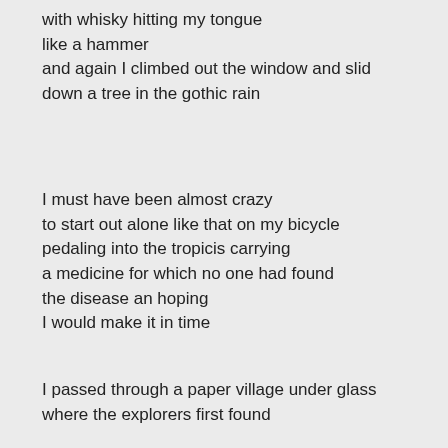with whisky hitting my tongue
like a hammer
and again I climbed out the window and slid
down a tree in the gothic rain
I must have been almost crazy
to start out alone like that on my bicycle
pedaling into the tropicis carrying
a medicine for which no one had found
the disease an hoping
I would make it in time
I passed through a paper village under glass
where the explorers first found